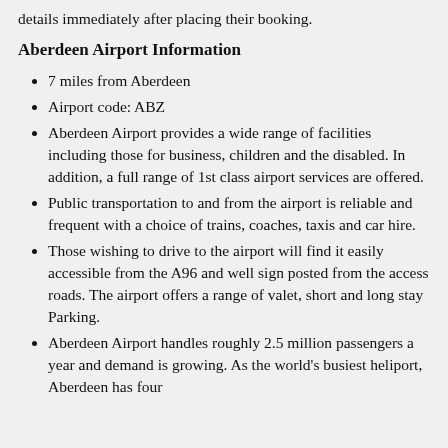details immediately after placing their booking.
Aberdeen Airport Information
7 miles from Aberdeen
Airport code: ABZ
Aberdeen Airport provides a wide range of facilities including those for business, children and the disabled. In addition, a full range of 1st class airport services are offered.
Public transportation to and from the airport is reliable and frequent with a choice of trains, coaches, taxis and car hire.
Those wishing to drive to the airport will find it easily accessible from the A96 and well sign posted from the access roads. The airport offers a range of valet, short and long stay Parking.
Aberdeen Airport handles roughly 2.5 million passengers a year and demand is growing. As the world's busiest heliport, Aberdeen has four